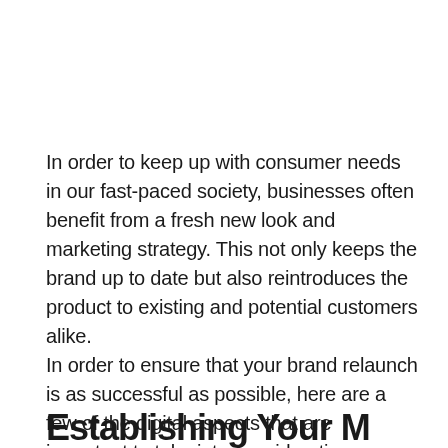In order to keep up with consumer needs in our fast-paced society, businesses often benefit from a fresh new look and marketing strategy. This not only keeps the brand up to date but also reintroduces the product to existing and potential customers alike. In order to ensure that your brand relaunch is as successful as possible, here are a few of the digital aspects that are important to take into consideration.
Establishing Your...